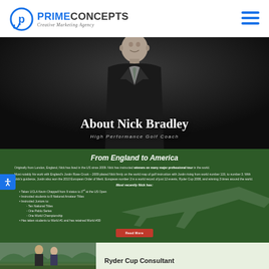[Figure (logo): Prime Concepts Creative Marketing Agency logo with blue circular P icon]
[Figure (illustration): Hamburger menu icon in blue]
[Figure (photo): Hero banner with dark background photo of man in suit. Text overlay: 'About Nick Bradley' and 'High Performance Golf Coach']
About Nick Bradley
High Performance Golf Coach
From England to America
Originally from London, England, Nick has lived in the US since 2009. Nick has instructed winners on many major professional tour in the world.
Most notably his work with England's Justin Rose-Crook – 2009 placed Nick firmly on the world map of golf instruction with Justin rising from world number 119, to number 3. With Nick's guidance, Justin also won the 2010 European Order of Merit. European number 2 in a world record of just 12 events, Ryder Cup 2008, and winning 3 times around the world.
Most recently Nick has:
Taken UCLA Kevin Chappell from 9 status to 3rd at the US Open
Instructed students to 8 National Amateur Titles
Instructed Juniors to:
Ten National Titles
One Pablo Series
One World Championship
Has taken students to World #1 and has retained World #30
[Figure (other): Red 'Read More' button]
[Figure (photo): Photo of two men outdoors on a golf course]
Ryder Cup Consultant